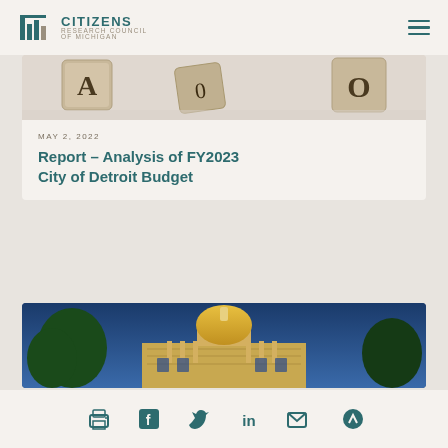Citizens Research Council of Michigan
[Figure (photo): Wooden alphabet dice blocks on white background, partially cropped showing letters A and O]
MAY 2, 2022
Report – Analysis of FY2023 City of Detroit Budget
[Figure (photo): Michigan State Capitol building illuminated at dusk with golden dome and blue sky, trees in foreground]
Social icons: print, Facebook, Twitter, LinkedIn, email, scroll-to-top